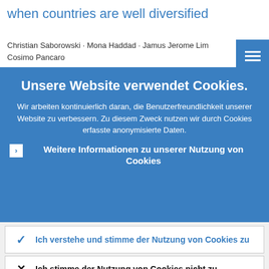when countries are well diversified
Christian Saborowski · Mona Haddad · Jamus Jerome Lim · Cosimo Pancaro
Unsere Website verwendet Cookies.
Wir arbeiten kontinuierlich daran, die Benutzerfreundlichkeit unserer Website zu verbessern. Zu diesem Zweck nutzen wir durch Cookies erfasste anonymisierte Daten.
Weitere Informationen zu unserer Nutzung von Cookies
Ich verstehe und stimme der Nutzung von Cookies zu
Ich stimme der Nutzung von Cookies nicht zu